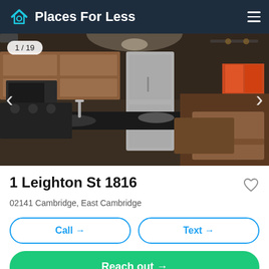Places For Less
[Figure (photo): Interior photo of a modern apartment kitchen and dining area with dark countertops, wood cabinets, stainless steel appliances, and a dining table with booth seating]
1 Leighton St 1816
02141 Cambridge, East Cambridge
Call →
Text →
Reach out →